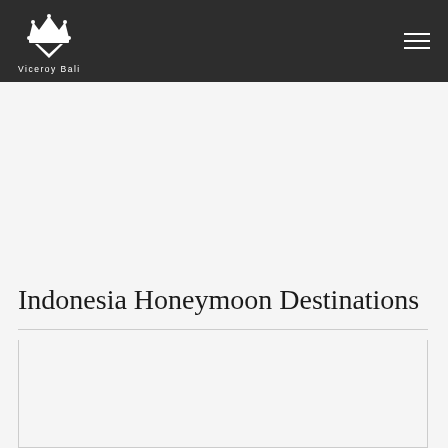[Figure (logo): Viceroy Bali logo with crown and V emblem in white on dark background, with text 'Viceroy Bali' below]
Indonesia Honeymoon Destinations